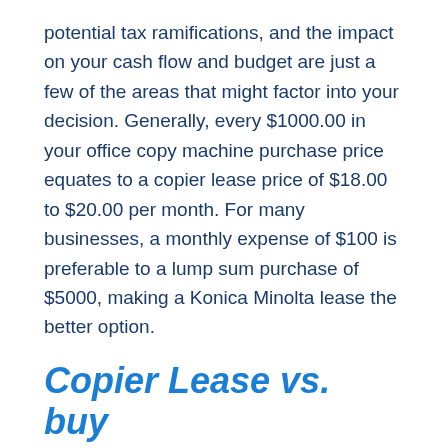potential tax ramifications, and the impact on your cash flow and budget are just a few of the areas that might factor into your decision. Generally, every $1000.00 in your office copy machine purchase price equates to a copier lease price of $18.00 to $20.00 per month. For many businesses, a monthly expense of $100 is preferable to a lump sum purchase of $5000, making a Konica Minolta lease the better option.
Copier Lease vs. buy
Purchasing your business copier outright has its benefits. By paying upfront for an office copier now you'll eliminate a monthly payment as well as any finance or interest charges. You may be able to write off the purchase of your new printer in the